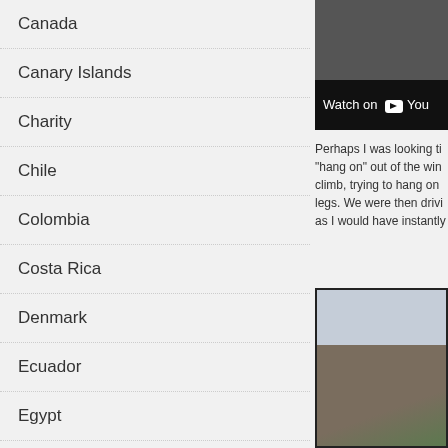Canada
Canary Islands
Charity
Chile
Colombia
Costa Rica
Denmark
Ecuador
Egypt
El Salvador
Ethiopia
France
Funny Places to Sleep
Germany
Gibraltar
Guatemala
[Figure (screenshot): YouTube video embed with 'Watch on YouTube' bar]
Perhaps I was looking ti… "hang on" out of the win… climb, trying to hang on … legs. We were then drivi… as I would have instantly…
[Figure (photo): Mountain landscape photo with rocky terrain and overcast sky]